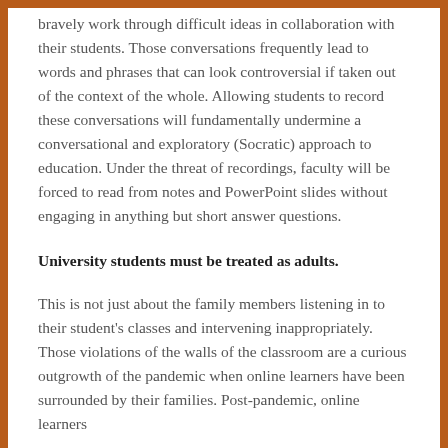bravely work through difficult ideas in collaboration with their students. Those conversations frequently lead to words and phrases that can look controversial if taken out of the context of the whole. Allowing students to record these conversations will fundamentally undermine a conversational and exploratory (Socratic) approach to education. Under the threat of recordings, faculty will be forced to read from notes and PowerPoint slides without engaging in anything but short answer questions.
University students must be treated as adults.
This is not just about the family members listening in to their student's classes and intervening inappropriately. Those violations of the walls of the classroom are a curious outgrowth of the pandemic when online learners have been surrounded by their families. Post-pandemic, online learners